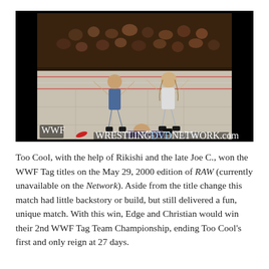[Figure (photo): Wrestling match photo showing two wrestlers celebrating in the ring with arms raised, and a third person lying on the mat. Watermark reads WRESTLINGDVDNETWORK.com in the bottom right corner.]
Too Cool, with the help of Rikishi and the late Joe C., won the WWF Tag titles on the May 29, 2000 edition of RAW (currently unavailable on the Network). Aside from the title change this match had little backstory or build, but still delivered a fun, unique match. With this win, Edge and Christian would win their 2nd WWF Tag Team Championship, ending Too Cool's first and only reign at 27 days.